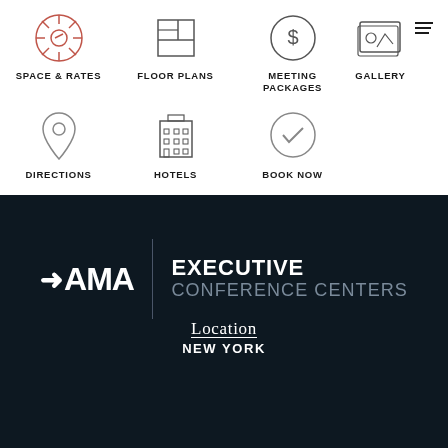SPACE & RATES
FLOOR PLANS
MEETING PACKAGES
GALLERY
DIRECTIONS
HOTELS
BOOK NOW
[Figure (logo): AMA Executive Conference Centers logo — AMA text with arrow icon on white background left of a vertical divider line, then EXECUTIVE in white bold uppercase and CONFERENCE CENTERS in gray on dark navy background]
Location
NEW YORK